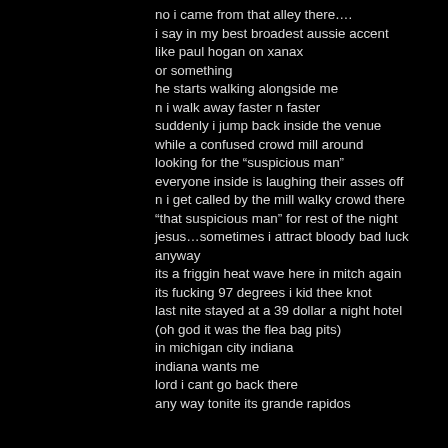no i came from that alley there….
i say in my best broadest aussie accent
like paul hogan on xanax
or something
he starts walking alongside me
n i walk away faster n faster
suddenly i jump back inside the venue
while a confused crowd mill around
looking for the “suspicious man”
everyone inside is laughing their asses off
n i get called by the mill walky crowd there
“that suspicious man” for rest of the night
jesus…sometimes i attract bloody bad luck
anyway
its a friggin heat wave here in mitch again
its fucking 97 degrees i kid thee knot
last nite stayed at a 39 dollar a night hotel
(oh god it was the flea bag pits)
in michigan city indiana
indiana wants me
lord i cant go back there
any way tonite its grande rapidos